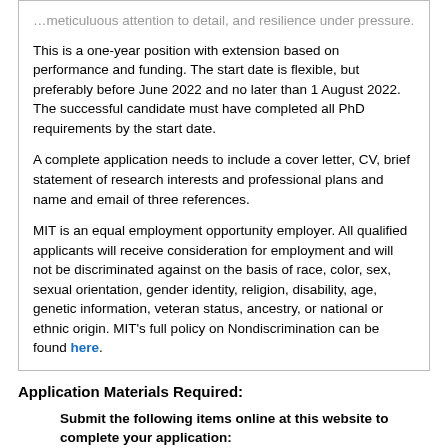This is a one-year position with extension based on performance and funding. The start date is flexible, but preferably before June 2022 and no later than 1 August 2022. The successful candidate must have completed all PhD requirements by the start date.

A complete application needs to include a cover letter, CV, brief statement of research interests and professional plans and name and email of three references.

MIT is an equal employment opportunity employer. All qualified applicants will receive consideration for employment and will not be discriminated against on the basis of race, color, sex, sexual orientation, gender identity, religion, disability, age, genetic information, veteran status, ancestry, or national or ethnic origin. MIT's full policy on Nondiscrimination can be found here.
Application Materials Required:
Submit the following items online at this website to complete your application:
Cover letter
Curriculum Vitae
Research statement
Three references (no actual letters, just names and email addresses)
And anything else requested in the position description